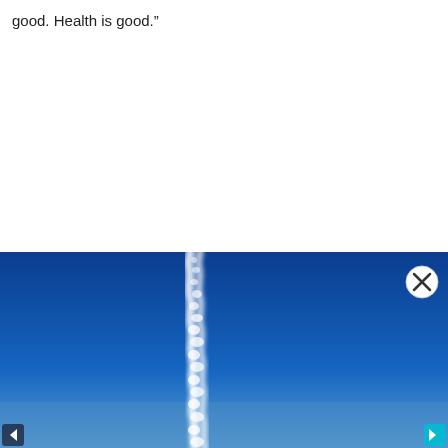good. Health is good.”
[Figure (photo): A rocket or missile contrail streaking upward through a deep blue sky, leaving a white smoke trail. A circular close button with an X is overlaid in the top-right corner of the image. Navigation arrows appear at the bottom-left and bottom-right corners.]